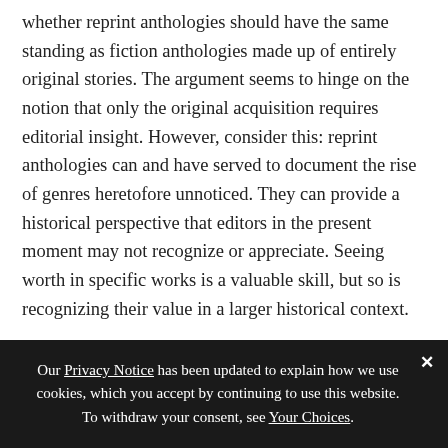whether reprint anthologies should have the same standing as fiction anthologies made up of entirely original stories. The argument seems to hinge on the notion that only the original acquisition requires editorial insight. However, consider this: reprint anthologies can and have served to document the rise of genres heretofore unnoticed. They can provide a historical perspective that editors in the present moment may not recognize or appreciate. Seeing worth in specific works is a valuable skill, but so is recognizing their value in a larger historical context.
Perhaps some examples are in order.
Our Privacy Notice has been updated to explain how we use cookies, which you accept by continuing to use this website. To withdraw your consent, see Your Choices.